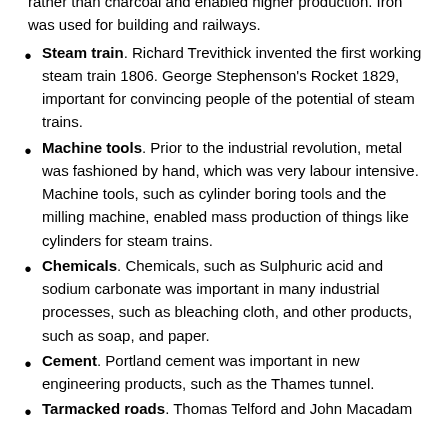rather than charcoal and enabled higher production. Iron was used for building and railways.
Steam train. Richard Trevithick invented the first working steam train 1806. George Stephenson's Rocket 1829, important for convincing people of the potential of steam trains.
Machine tools. Prior to the industrial revolution, metal was fashioned by hand, which was very labour intensive. Machine tools, such as cylinder boring tools and the milling machine, enabled mass production of things like cylinders for steam trains.
Chemicals. Chemicals, such as Sulphuric acid and sodium carbonate was important in many industrial processes, such as bleaching cloth, and other products, such as soap, and paper.
Cement. Portland cement was important in new engineering products, such as the Thames tunnel.
Tarmacked roads. Thomas Telford and John Macadam